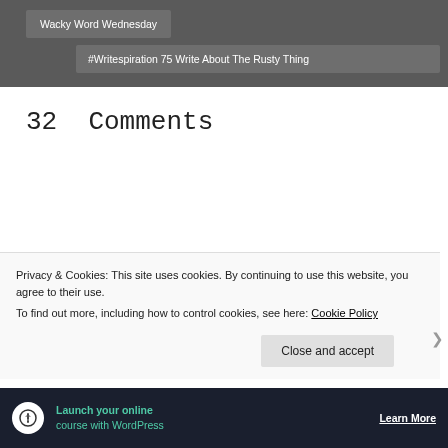Wacky Word Wednesday
#Writespiration 75 Write About The Rusty Thing
32  Comments
[Figure (photo): Small avatar/thumbnail image, partially visible, showing a blurry outdoor scene]
Privacy & Cookies: This site uses cookies. By continuing to use this website, you agree to their use.
To find out more, including how to control cookies, see here: Cookie Policy
Close and accept
Advertisements
[Figure (infographic): Advertisement banner: Launch your online course with WordPress — Learn More]